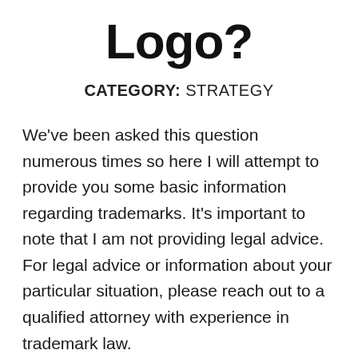Logo?
CATEGORY: STRATEGY
We've been asked this question numerous times so here I will attempt to provide you some basic information regarding trademarks. It's important to note that I am not providing legal advice. For legal advice or information about your particular situation, please reach out to a qualified attorney with experience in trademark law.
NOTE: This is not legal advice, and all of the following is a brief summary of open source facts posted on the United States Patent and Trademark Office (USPTO) website, titled: “basic facts about